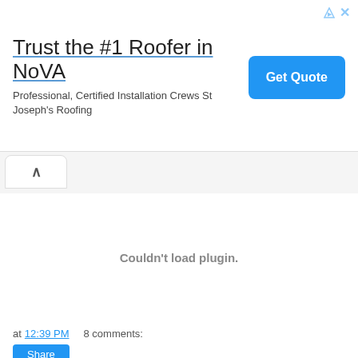[Figure (other): Advertisement banner: 'Trust the #1 Roofer in NoVA' with subtitle 'Professional, Certified Installation Crews St Joseph's Roofing' and a blue 'Get Quote' button on the right. Small ad icons (triangle and X) in top-right corner.]
[Figure (other): Tab/chevron UI element — a white rounded tab button with an upward-pointing chevron (^) symbol.]
Couldn't load plugin.
at 12:39 PM   8 comments:
Share